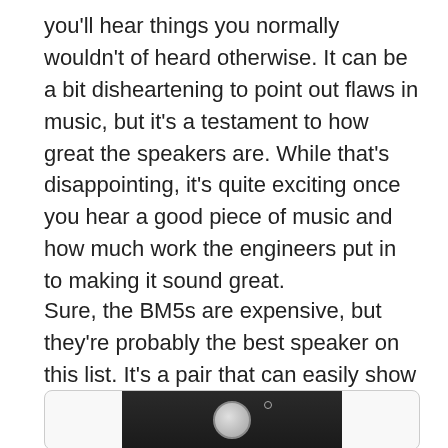you'll hear things you normally wouldn't of heard otherwise. It can be a bit disheartening to point out flaws in music, but it's a testament to how great the speakers are. While that's disappointing, it's quite exciting once you hear a good piece of music and how much work the engineers put in to making it sound great.
Sure, the BM5s are expensive, but they're probably the best speaker on this list. It's a pair that can easily show up in professional studios, often sat next to a pair of NS10s. If you're serious about audio, take a serious look at these speakers.
[Figure (photo): Photo of a studio monitor speaker (partially visible), with a white/silver circular driver on a dark/black baffle, inside a rounded-corner box frame.]